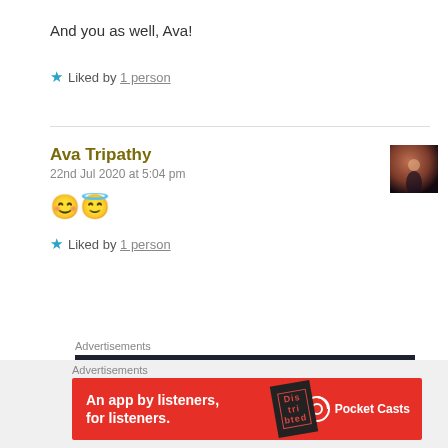And you as well, Ava!
★ Liked by 1 person
Ava Tripathy
22nd Jul 2020 at 5:04 pm
😊😇
★ Liked by 1 person
[Figure (screenshot): Advertisement banner for Sensei on dark background]
[Figure (screenshot): Advertisement banner for Pocket Casts - An app by listeners, for listeners]